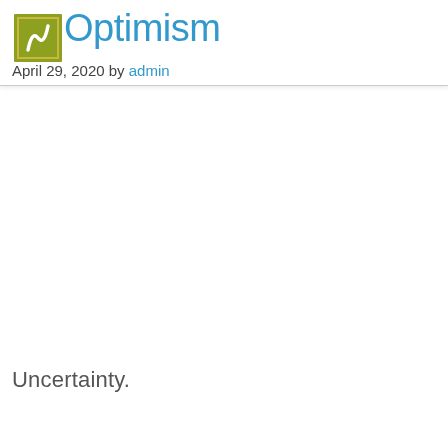Optimism
April 29, 2020 by admin
Uncertainty.